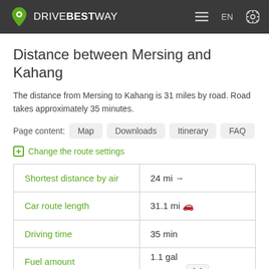DRIVEBESTWAY — EN — settings
Distance between Mersing and Kahang
The distance from Mersing to Kahang is 31 miles by road. Road takes approximately 35 minutes.
Page content: Map | Downloads | Itinerary | FAQ
⊞ Change the route settings
|  |  |
| --- | --- |
| Shortest distance by air | 24 mi → |
| Car route length | 31.1 mi □ |
| Driving time | 35 min |
| Fuel amount | 1.1 gal |